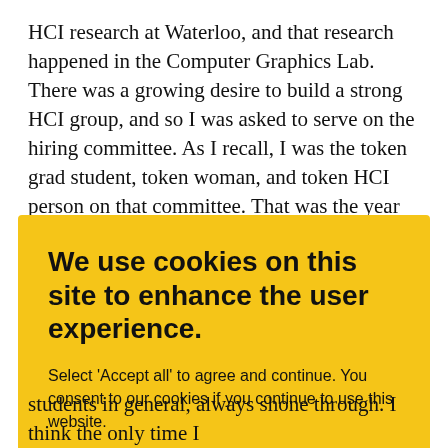HCI research at Waterloo, and that research happened in the Computer Graphics Lab. There was a growing desire to build a strong HCI group, and so I was asked to serve on the hiring committee. As I recall, I was the token grad student, token woman, and token HCI person on that committee. That was the year that we hired both Ed Lank and Mike Terry and it felt like a major accomplishment to get them both! I've always felt proud of
[Figure (screenshot): Cookie consent overlay on a yellow background reading 'We use cookies on this site to enhance the user experience.' with an ACCEPT ALL button.]
students in general, always shone through. I think the only time I